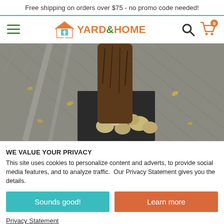Free shipping on orders over $75 - no promo code needed!
[Figure (logo): Yard & Home logo with house icon, hamburger menu, search icon, and cart icon with badge showing 0]
[Figure (photo): Close-up photo of a tree trunk on a wooden deck surrounded by rocks in a square planter cutout]
WE VALUE YOUR PRIVACY
This site uses cookies to personalize content and adverts, to provide social media features, and to analyze traffic.  Our Privacy Statement gives you the details.
Sounds good!
Learn more
Privacy Statement